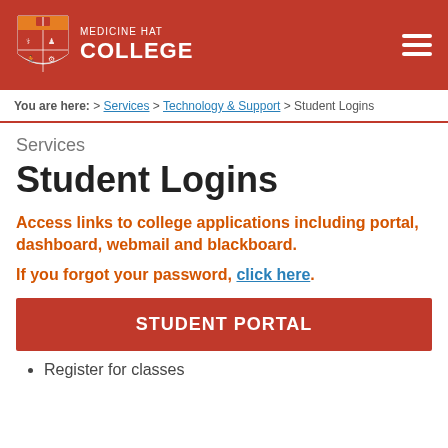[Figure (logo): Medicine Hat College logo with shield and text header navigation bar with hamburger menu]
You are here: > Services > Technology & Support > Student Logins
Services
Student Logins
Access links to college applications including portal, dashboard, webmail and blackboard.
If you forgot your password, click here.
STUDENT PORTAL
Register for classes